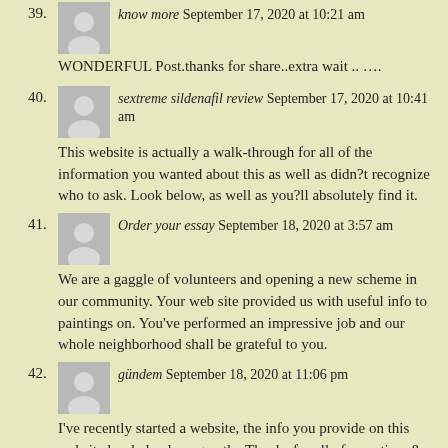39. know more September 17, 2020 at 10:21 am
WONDERFUL Post.thanks for share..extra wait .. ….
40. sextreme sildenafil review September 17, 2020 at 10:41 am
This website is actually a walk-through for all of the information you wanted about this as well as didn?t recognize who to ask. Look below, as well as you?ll absolutely find it.
41. Order your essay September 18, 2020 at 3:57 am
We are a gaggle of volunteers and opening a new scheme in our community. Your web site provided us with useful info to paintings on. You've performed an impressive job and our whole neighborhood shall be grateful to you.
42. gündem September 18, 2020 at 11:06 pm
I've recently started a website, the info you provide on this website has helped me greatly. Thanks for all of your time & work.